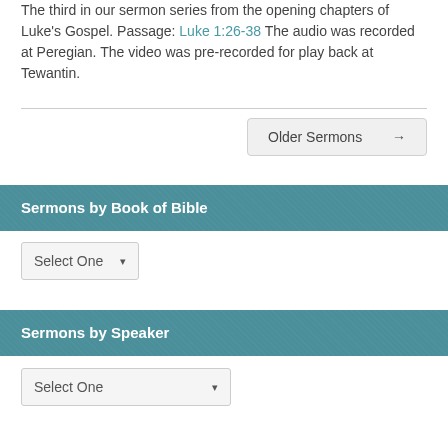The third in our sermon series from the opening chapters of Luke's Gospel. Passage: Luke 1:26-38 The audio was recorded at Peregian. The video was pre-recorded for play back at Tewantin.
Older Sermons →
Sermons by Book of Bible
Select One
Sermons by Speaker
Select One